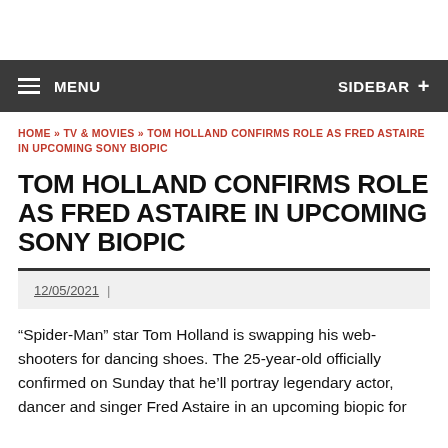MENU   SIDEBAR +
HOME » TV & MOVIES » TOM HOLLAND CONFIRMS ROLE AS FRED ASTAIRE IN UPCOMING SONY BIOPIC
TOM HOLLAND CONFIRMS ROLE AS FRED ASTAIRE IN UPCOMING SONY BIOPIC
12/05/2021
“Spider-Man” star Tom Holland is swapping his web-shooters for dancing shoes. The 25-year-old officially confirmed on Sunday that he’ll portray legendary actor, dancer and singer Fred Astaire in an upcoming biopic for